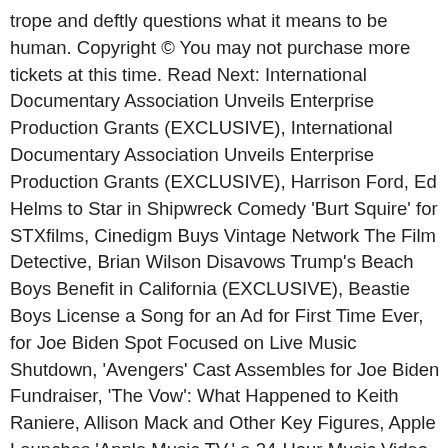trope and deftly questions what it means to be human. Copyright © You may not purchase more tickets at this time. Read Next: International Documentary Association Unveils Enterprise Production Grants (EXCLUSIVE), International Documentary Association Unveils Enterprise Production Grants (EXCLUSIVE), Harrison Ford, Ed Helms to Star in Shipwreck Comedy 'Burt Squire' for STXfilms, Cinedigm Buys Vintage Network The Film Detective, Brian Wilson Disavows Trump's Beach Boys Benefit in California (EXCLUSIVE), Beastie Boys License a Song for an Ad for First Time Ever, for Joe Biden Spot Focused on Live Music Shutdown, 'Avengers' Cast Assembles for Joe Biden Fundraiser, 'The Vow': What Happened to Keith Raniere, Allison Mack and Other Key Figures, Apple Launches 'Apple Music TV,' a 24-Hour Music Video Livestream, Vishal Bhardwaj Sets Up Agatha Christie Indian Film Franchise (EXCLUSIVE), 'The Vow': What the Finale's Surprise Twist Means for Season 2, China's Box Office Hits $2 Billion, Overtakes North America, Bruce Willis Stars in Commercial for 'Die Hard' Car Batteries, 'Demon Slayer' Kills With $44 Million Japan Box Office Weekend, TV Ratings: Biden Wins